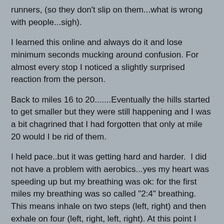runners, (so they don't slip on them...what is wrong with people...sigh).
I learned this online and always do it and lose minimum seconds mucking around confusion. For almost every stop I noticed a slightly surprised reaction from the person.
Back to miles 16 to 20.......Eventually the hills started to get smaller but they were still happening and I was a bit chagrined that I had forgotten that only at mile 20 would I be rid of them.
I held pace..but it was getting hard and harder.  I did not have a problem with aerobics...yes my heart was speeding up but my breathing was ok: for the first miles my breathing was so called "2:4" breathing. This means inhale on two steps (left, right) and then exhale on four (left, right, left, right). At this point I started to flip to 2:2 breathing on the uphills.
Finally at mile 20!